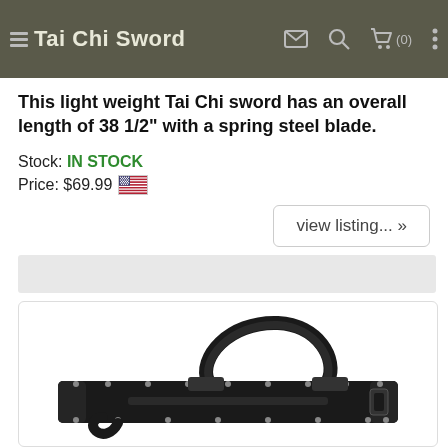Tai Chi Sword
This light weight Tai Chi sword has an overall length of 38 1/2" with a spring steel blade.
Stock: IN STOCK
Price: $69.99
view listing... »
[Figure (photo): A black sword carry bag/case with a shoulder strap and metal rivets, shown diagonally on a white background.]